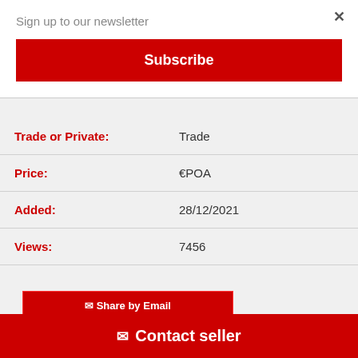Sign up to our newsletter
Subscribe
| Trade or Private: | Trade |
| Price: | €POA |
| Added: | 28/12/2021 |
| Views: | 7456 |
Share by Email
Print page
Report Sold
Contact seller